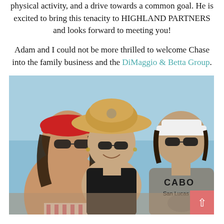physical activity, and a drive towards a common goal. He is excited to bring this tenacity to HIGHLAND PARTNERS and looks forward to meeting you!

Adam and I could not be more thrilled to welcome Chase into the family business and the DiMaggio & Betta Group.
[Figure (photo): Three people posing together outdoors on a sunny day. On the left is a shirtless man with long dark hair, sunglasses, and a red baseball cap. In the center is a woman in a black tank top wearing a straw cowboy hat and sunglasses. On the right is a man in a grey 'Cabo San Lucas' t-shirt wearing a white visor and sunglasses.]